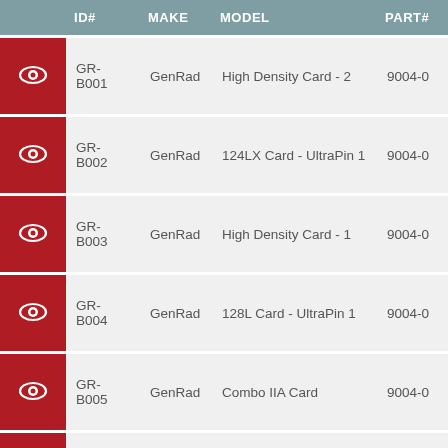|  | ID# | MAKE | MODEL | PART# |
| --- | --- | --- | --- | --- |
| [eye] | GR-B001 | GenRad | High Density Card - 2 | 9004-0 |
| [eye] | GR-B002 | GenRad | 124LX Card - UltraPin 1 | 9004-0 |
| [eye] | GR-B003 | GenRad | High Density Card - 1 | 9004-0 |
| [eye] | GR-B004 | GenRad | 128L Card - UltraPin 1 | 9004-0 |
| [eye] | GR-B005 | GenRad | Combo IIA Card | 9004-0 |
| [eye] | GR-B006 | GenRad | 124 Card - UltraPin 1 | 9004-0 |
| [eye] | GR-B007 | GenRad | Combo IA Card | 9004-0 |